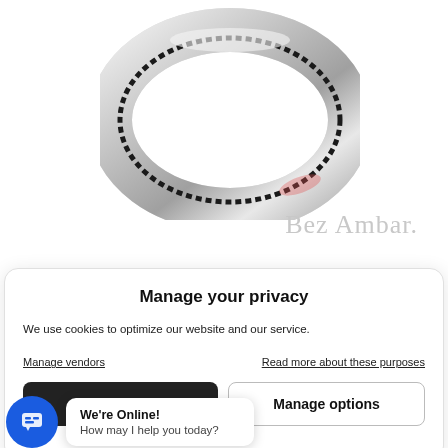[Figure (photo): Close-up photograph of a silver men's wedding band ring with black cable inlay detail, shown at an angle on white background]
Bez Ambar.
Manage your privacy
We use cookies to optimize our website and our service.
Manage vendors
Read more about these purposes
Accept
Manage options
We're Online! How may I help you today?